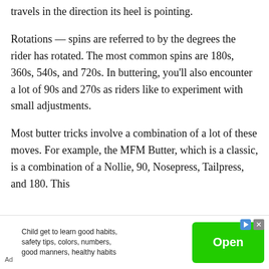travels in the direction its heel is pointing.
Rotations — spins are referred to by the degrees the rider has rotated. The most common spins are 180s, 360s, 540s, and 720s. In buttering, you'll also encounter a lot of 90s and 270s as riders like to experiment with small adjustments.
Most butter tricks involve a combination of a lot of these moves. For example, the MFM Butter, which is a classic, is a combination of a Nollie, 90, Nosepress, Tailpress, and 180. This
[Figure (other): Advertisement banner: Child app ad with text 'Child get to learn good habits, safety tips, colors, numbers, good manners, healthy habits' with a green Open button and Ad label]